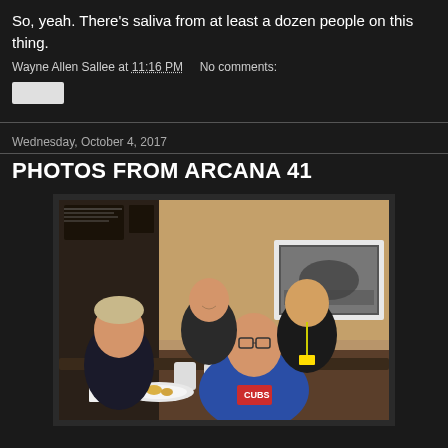So, yeah. There's saliva from at least a dozen people on this thing.
Wayne Allen Sallee at 11:16 PM   No comments:
Wednesday, October 4, 2017
PHOTOS FROM ARCANA 41
[Figure (photo): Group photo of four people seated and standing around a table in what appears to be a hotel restaurant or lobby cafe. One person in front wears a blue Chicago Cubs jersey. Black and white framed photo on the wall in background.]